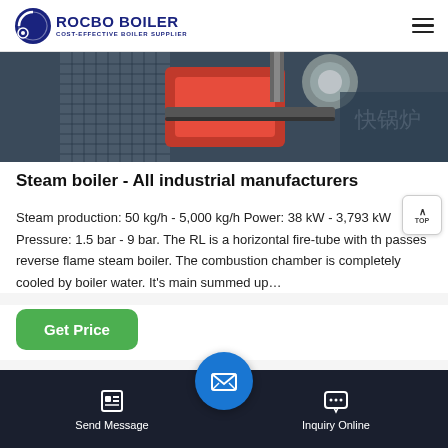ROCBO BOILER - COST-EFFECTIVE BOILER SUPPLIER
[Figure (photo): Industrial steam boiler machinery photo showing red and metal components with Chinese text characters visible on equipment]
Steam boiler - All industrial manufacturers
Steam production: 50 kg/h - 5,000 kg/h Power: 38 kW - 3,793 kW Pressure: 1.5 bar - 9 bar. The RL is a horizontal fire-tube with th passes reverse flame steam boiler. The combustion chamber is completely cooled by boiler water. It's main summed up…
Get Price
Send Message | Inquiry Online